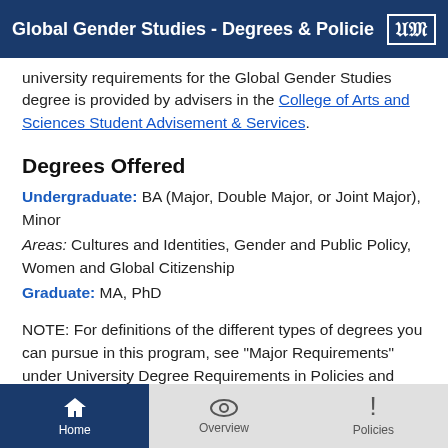Global Gender Studies - Degrees & Policie
university requirements for the Global Gender Studies degree is provided by advisers in the College of Arts and Sciences Student Advisement & Services.
Degrees Offered
Undergraduate: BA (Major, Double Major, or Joint Major), Minor
Areas: Cultures and Identities, Gender and Public Policy, Women and Global Citizenship
Graduate: MA, PhD
NOTE: For definitions of the different types of degrees you can pursue in this program, see "Major Requirements" under University Degree Requirements in Policies and Procedures in this catalog.
Home  Overview  Policies